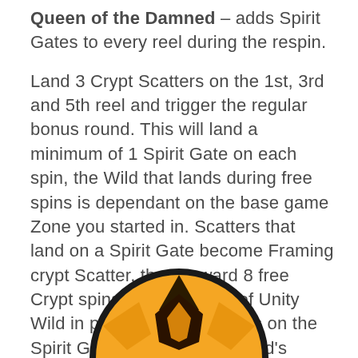Queen of the Damned – adds Spirit Gates to every reel during the respin.

Land 3 Crypt Scatters on the 1st, 3rd and 5th reel and trigger the regular bonus round. This will land a minimum of 1 Spirit Gate on each spin, the Wild that lands during free spins is dependant on the base game Zone you started in. Scatters that land on a Spirit Gate become Framing crypt Scatter, these award 8 free Crypt spins with the Spirit of Unity Wild in play. If this Wild lands on the Spirit Gate all of the other Wild's features come into play at once.
[Figure (illustration): Partially visible circular emblem or coin with orange and black coloring, showing a stylized design, cropped at the bottom of the page.]